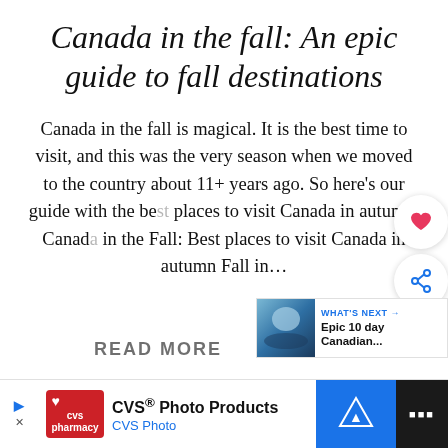Canada in the fall: An epic guide to fall destinations
Canada in the fall is magical. It is the best time to visit, and this was the very season when we moved to the country about 11+ years ago. So here's our guide with the best places to visit Canada in autumn. Canada in the Fall: Best places to visit Canada in autumn Fall in…
[Figure (screenshot): Website UI overlay showing a heart (save) button and a share button on the right side, and a 'What's Next' panel with thumbnail for 'Epic 10 day Canadian...' article]
READ MORE
CVS® Photo Products CVS Photo [advertisement bar]